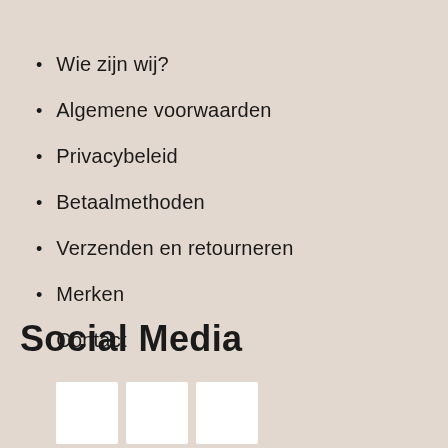Wie zijn wij?
Algemene voorwaarden
Privacybeleid
Betaalmethoden
Verzenden en retourneren
Merken
Contact
Social Media
[Figure (other): Three white square social media icon placeholders]